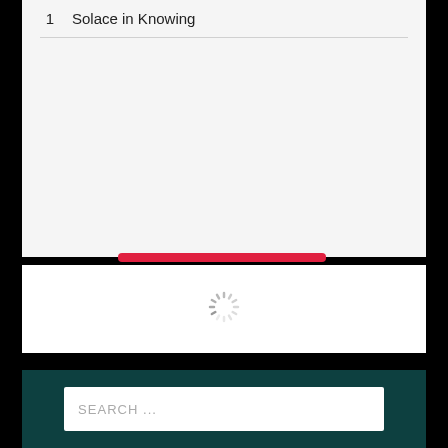1  Solace in Knowing
[Figure (screenshot): Loading spinner (circular dashed spinner icon)]
SEARCH ...